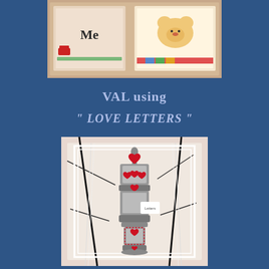[Figure (photo): Top photograph showing cross-stitch or craft artwork with text 'Me' and cartoon bear designs on a light background]
VAL using
" LOVE LETTERS "
[Figure (photo): Bottom photograph showing a decorative lantern or candleholder with red heart motifs, black vines/branches, and a pink/white fabric background, with a small tag reading 'Letters']